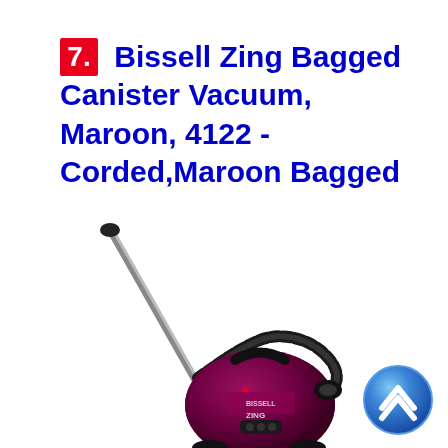7. Bissell Zing Bagged Canister Vacuum, Maroon, 4122 - Corded,Maroon Bagged
[Figure (photo): Bissell Zing Bagged Canister Vacuum in maroon color with wand/hose attachment, and a blue circle up-arrow button in bottom-right corner]